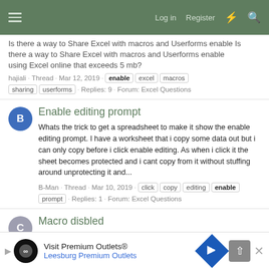Log in · Register
Is there a way to Share Excel with macros and Userforms enable using Excel online that exceeds 5 mb?
hajiali · Thread · Mar 12, 2019 · enable · excel · macros · sharing · userforms · Replies: 9 · Forum: Excel Questions
Enable editing prompt
Whats the trick to get a spreadsheet to make it show the enable editing prompt. I have a worksheet that i copy some data out but i can only copy before i click enable editing. As when i click it the sheet becomes protected and i cant copy from it without stuffing around unprotecting it and...
B-Man · Thread · Mar 10, 2019 · click · copy · editing · enable · prompt · Replies: 1 · Forum: Excel Questions
Macro disbled
Hi, Trying to enable macros to run on excel binary sheet. I have changed the trust centre settings to enable all macros but still get th...
CHRISTOP · Thread · Mar 9, 2019 · enable · macros · run